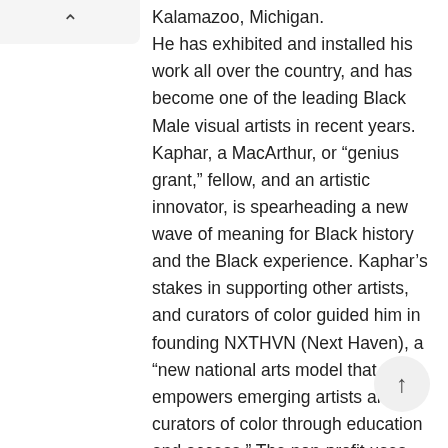Kalamazoo, Michigan. He has exhibited and installed his work all over the country, and has become one of the leading Black Male visual artists in recent years. Kaphar, a MacArthur, or “genius grant,” fellow, and an artistic innovator, is spearheading a new wave of meaning for Black history and the Black experience. Kaphar’s stakes in supporting other artists, and curators of color guided him in founding NXTHVN (Next Haven), a “new national arts model that empowers emerging artists and curators of color through education and access.” The non-profit uses “intergenerational mentorships” as a means of professional development and career enrichment or acceleration.